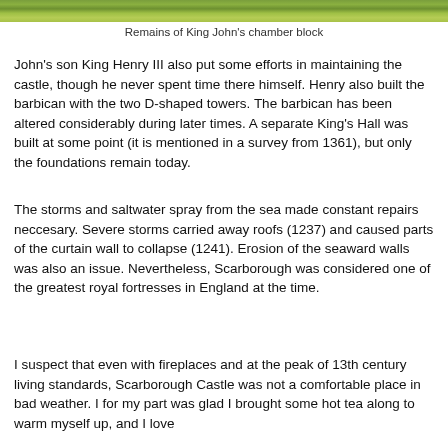[Figure (photo): Partial view of grassy area, remains of King John's chamber block at Scarborough Castle]
Remains of King John's chamber block
John's son King Henry III also put some efforts in maintaining the castle, though he never spent time there himself. Henry also built the barbican with the two D-shaped towers. The barbican has been altered considerably during later times. A separate King's Hall was built at some point (it is mentioned in a survey from 1361), but only the foundations remain today.
The storms and saltwater spray from the sea made constant repairs neccesary. Severe storms carried away roofs (1237) and caused parts of the curtain wall to collapse (1241). Erosion of the seaward walls was also an issue. Nevertheless, Scarborough was considered one of the greatest royal fortresses in England at the time.
I suspect that even with fireplaces and at the peak of 13th century living standards, Scarborough Castle was not a comfortable place in bad weather. I for my part was glad I brought some hot tea along to warm myself up, and I love